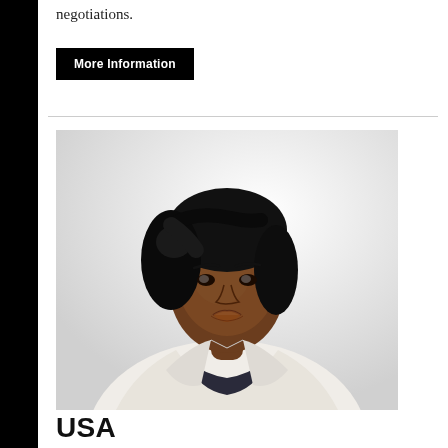negotiations.
More Information
[Figure (photo): Professional headshot of a woman with short black hair wearing a white blazer over a dark top, against a light background.]
USA